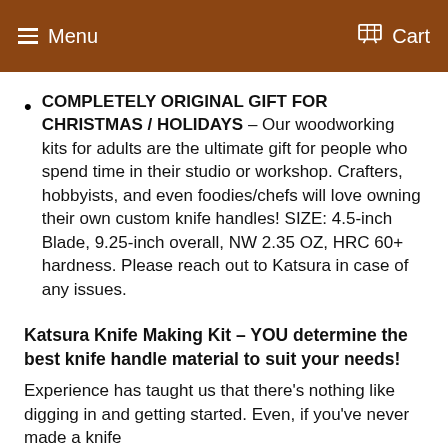Menu  Cart
COMPLETELY ORIGINAL GIFT FOR CHRISTMAS / HOLIDAYS – Our woodworking kits for adults are the ultimate gift for people who spend time in their studio or workshop. Crafters, hobbyists, and even foodies/chefs will love owning their own custom knife handles! SIZE: 4.5-inch Blade, 9.25-inch overall, NW 2.35 OZ, HRC 60+ hardness. Please reach out to Katsura in case of any issues.
Katsura Knife Making Kit – YOU determine the best knife handle material to suit your needs!
Experience has taught us that there's nothing like digging in and getting started. Even, if you've never made a knife